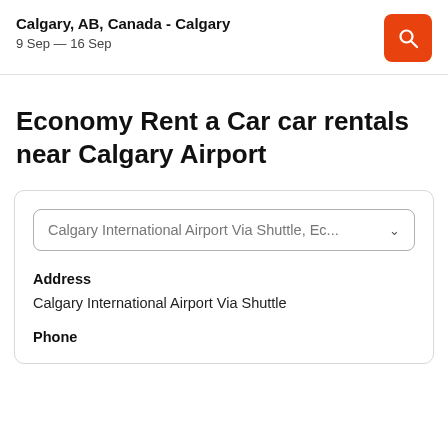Calgary, AB, Canada - Calgary
9 Sep — 16 Sep
Economy Rent a Car car rentals near Calgary Airport
Calgary International Airport Via Shuttle, Ec...
Address
Calgary International Airport Via Shuttle
Phone